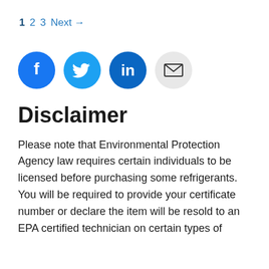1 2 3 Next →
[Figure (illustration): Four social media icon buttons in circles: Facebook (blue), Twitter (light blue), LinkedIn (dark blue), Email (gray)]
Disclaimer
Please note that Environmental Protection Agency law requires certain individuals to be licensed before purchasing some refrigerants. You will be required to provide your certificate number or declare the item will be resold to an EPA certified technician on certain types of